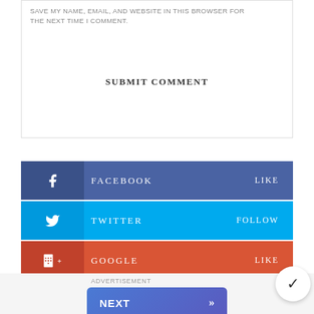SAVE MY NAME, EMAIL, AND WEBSITE IN THIS BROWSER FOR THE NEXT TIME I COMMENT.
SUBMIT COMMENT
FACEBOOK LIKE
TWITTER FOLLOW
GOOGLE LIKE
ADVERTISEMENT
NEXT
on Newz Online